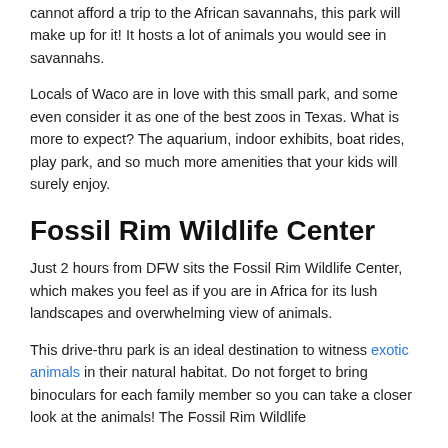cannot afford a trip to the African savannahs, this park will make up for it! It hosts a lot of animals you would see in savannahs.
Locals of Waco are in love with this small park, and some even consider it as one of the best zoos in Texas. What is more to expect? The aquarium, indoor exhibits, boat rides, play park, and so much more amenities that your kids will surely enjoy.
Fossil Rim Wildlife Center
Just 2 hours from DFW sits the Fossil Rim Wildlife Center, which makes you feel as if you are in Africa for its lush landscapes and overwhelming view of animals.
This drive-thru park is an ideal destination to witness exotic animals in their natural habitat. Do not forget to bring binoculars for each family member so you can take a closer look at the animals! The Fossil Rim Wildlife